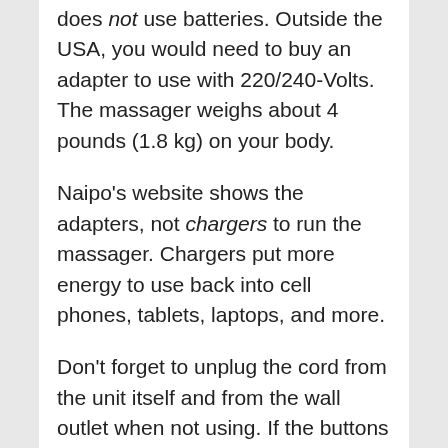does not use batteries. Outside the USA, you would need to buy an adapter to use with 220/240-Volts. The massager weighs about 4 pounds (1.8 kg) on your body.
Naipo's website shows the adapters, not chargers to run the massager. Chargers put more energy to use back into cell phones, tablets, laptops, and more.
Don't forget to unplug the cord from the unit itself and from the wall outlet when not using. If the buttons are accidently pushed, it could start running when no one is around.